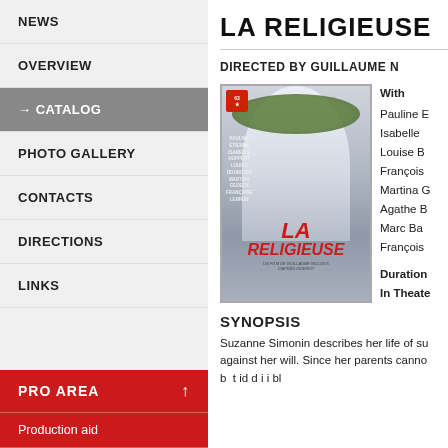NEWS
OVERVIEW
→ CATALOG
PHOTO GALLERY
CONTACTS
DIRECTIONS
LINKS
PRO AREA
Production aid
Aide à l'écriture/développement long-métrage
Soutien à la diffusion
The Authors Realty
LA RELIGIEUSE
DIRECTED BY GUILLAUME N
[Figure (photo): Movie poster for La Religieuse showing a woman in a white veil and flower wreath crown in profile]
With
Pauline E
Isabelle
Louise B
François
Martina G
Agathe B
Marc Ba
François
Duration
In Theate
SYNOPSIS
Suzanne Simonin describes her life of su against her will. Since her parents canno b t id d i i bl